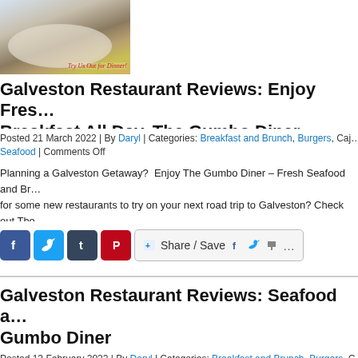[Figure (photo): Food photo showing a dish with shrimp/seafood over grits with a red banner text 'Try Us Out for Dinner!']
Galveston Restaurant Reviews: Enjoy Fres... Breakfast All Day. The Gumbo Diner
Posted 21 March 2022 | By Daryl | Categories: Breakfast and Brunch, Burgers, Caj... Seafood | Comments Off
Planning a Galveston Getaway?  Enjoy The Gumbo Diner – Fresh Seafood and Br... for some new restaurants to try on your next road trip to Galveston? Check out The... Seawall. Each time you visit, be sure to ask about the specials – they can be delici...
[Figure (screenshot): Social sharing buttons: Facebook, Twitter, Tumblr, Pinterest icons, and a Share/Save button with social icons]
Galveston Restaurant Reviews: Seafood a... Gumbo Diner
Posted 13 February 2022 | By Daryl | Categories: Breakfast and Brunch, Burgers, C... Comments Off